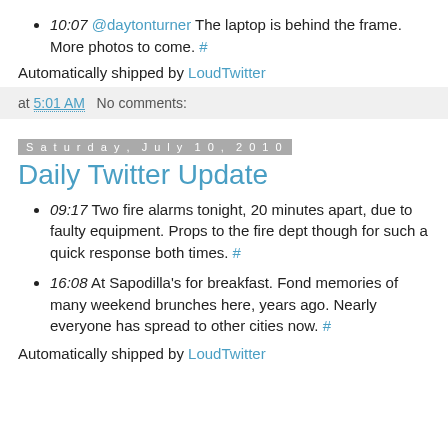10:07 @daytonturner The laptop is behind the frame. More photos to come. #
Automatically shipped by LoudTwitter
at 5:01 AM   No comments:
Saturday, July 10, 2010
Daily Twitter Update
09:17 Two fire alarms tonight, 20 minutes apart, due to faulty equipment. Props to the fire dept though for such a quick response both times. #
16:08 At Sapodilla's for breakfast. Fond memories of many weekend brunches here, years ago. Nearly everyone has spread to other cities now. #
Automatically shipped by LoudTwitter